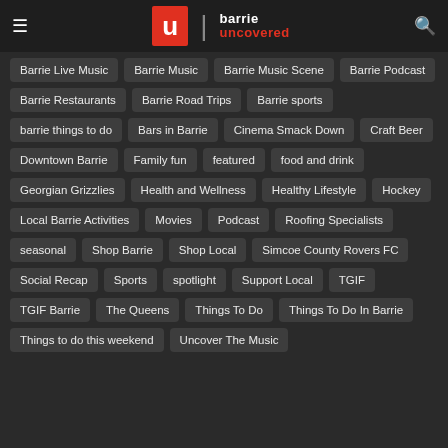barrie uncovered
Barrie Live Music
Barrie Music
Barrie Music Scene
Barrie Podcast
Barrie Restaurants
Barrie Road Trips
Barrie sports
barrie things to do
Bars in Barrie
Cinema Smack Down
Craft Beer
Downtown Barrie
Family fun
featured
food and drink
Georgian Grizzlies
Health and Wellness
Healthy Lifestyle
Hockey
Local Barrie Activities
Movies
Podcast
Roofing Specialists
seasonal
Shop Barrie
Shop Local
Simcoe County Rovers FC
Social Recap
Sports
spotlight
Support Local
TGIF
TGIF Barrie
The Queens
Things To Do
Things To Do In Barrie
Things to do this weekend
Uncover The Music